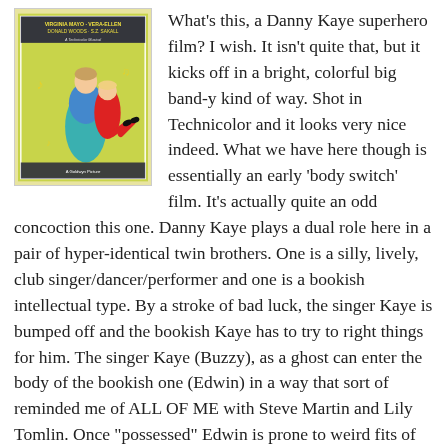[Figure (photo): Movie poster for a Danny Kaye film featuring a man in teal pants carrying a woman in a red dress, with text listing Virginia Mayo, Vera-Ellen, Donald Woods, S.Z. Sakall at the top.]
What's this, a Danny Kaye superhero film? I wish. It isn't quite that, but it kicks off in a bright, colorful big band-y kind of way. Shot in Technicolor and it looks very nice indeed. What we have here though is essentially an early 'body switch' film. It's actually quite an odd concoction this one. Danny Kaye plays a dual role here in a pair of hyper-identical twin brothers. One is a silly, lively, club singer/dancer/performer and one is a bookish intellectual type. By a stroke of bad luck, the singer Kaye is bumped off and the bookish Kaye has to try to right things for him. The singer Kaye (Buzzy), as a ghost can enter the body of the bookish one (Edwin) in a way that sort of reminded me of ALL OF ME with Steve Martin and Lily Tomlin. Once "possessed" Edwin is prone to weird fits of gibberish that can only be compared to the comedy stylings that Charlie Callas made popular in the late 60s and early 70s. It's completely bizarre nonsense and yet it is somehow captivating. So the movie is filled with lavish and wonderful musical numbers and lots of gibberish.